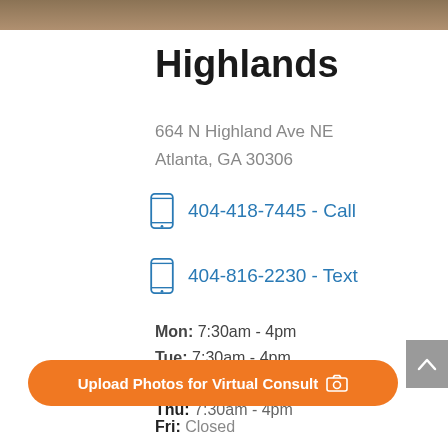Highlands
664 N Highland Ave NE
Atlanta, GA 30306
404-418-7445 - Call
404-816-2230 - Text
Mon: 7:30am - 4pm
Tue: 7:30am - 4pm
Wed: 7:30am - 4pm
Thu: 7:30am - 4pm
Upload Photos for Virtual Consult
Fri: Closed